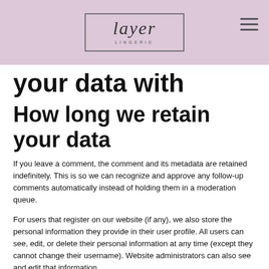[Figure (logo): Layer Lingerie logo in cursive/script font inside a rectangular border, on a mauve/lavender background header bar]
your data with
How long we retain your data
If you leave a comment, the comment and its metadata are retained indefinitely. This is so we can recognize and approve any follow-up comments automatically instead of holding them in a moderation queue.
For users that register on our website (if any), we also store the personal information they provide in their user profile. All users can see, edit, or delete their personal information at any time (except they cannot change their username). Website administrators can also see and edit that information.
What rights you